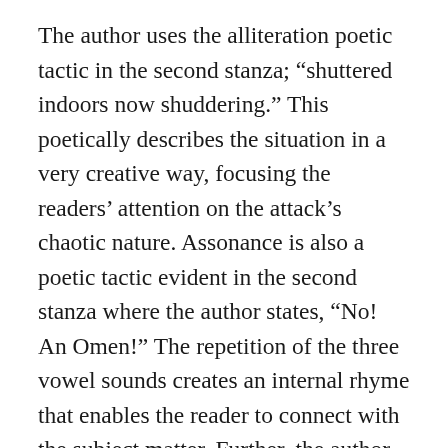The author uses the alliteration poetic tactic in the second stanza; “shuttered indoors now shuddering.” This poetically describes the situation in a very creative way, focusing the readers’ attention on the attack’s chaotic nature. Assonance is also a poetic tactic evident in the second stanza where the author states, “No! An Omen!” The repetition of the three vowel sounds creates an internal rhyme that enables the reader to connect with the subject matter. Further, the author tries to symbolize the story as that of bad luck based on the terrific war tragedy. Repetition is another poetic tactic featured in the second stanza, where Paredez states, “now shuttered indoors, hold your still breath” because of